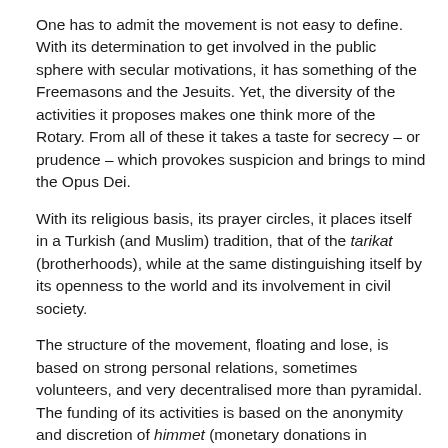One has to admit the movement is not easy to define. With its determination to get involved in the public sphere with secular motivations, it has something of the Freemasons and the Jesuits. Yet, the diversity of the activities it proposes makes one think more of the Rotary. From all of these it takes a taste for secrecy – or prudence – which provokes suspicion and brings to mind the Opus Dei.
With its religious basis, its prayer circles, it places itself in a Turkish (and Muslim) tradition, that of the tarikat (brotherhoods), while at the same distinguishing itself by its openness to the world and its involvement in civil society.
The structure of the movement, floating and lose, is based on strong personal relations, sometimes volunteers, and very decentralised more than pyramidal. The funding of its activities is based on the anonymity and discretion of himmet (monetary donations in particular during the month of Ramadan) which does not make it very transparent. In France, 'Muslims are perceived either as terrorists or unemployed. Fethullah Gülen's message allows us to live our faith while getting involved in society and gives us back a certain pride', explains one of its members.
In 2009, the most active members had nonetheless made efforts to gain exposure. 'However, they remain relatively mysterious', according to the political scientist Louis-Marie Bureau who studied the ideas of the one who inspired them and who has been criticised